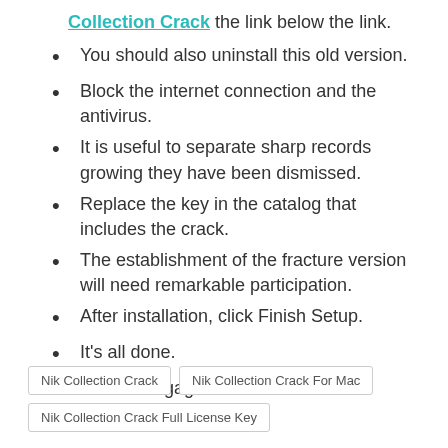Collection Crack the link below the link.
You should also uninstall this old version.
Block the internet connection and the antivirus.
It is useful to separate sharp records growing they have been dismissed.
Replace the key in the catalog that includes the crack.
The establishment of the fracture version will need remarkable participation.
After installation, click Finish Setup.
It's all done.
Go and engage the services.
Nik Collection Crack | Nik Collection Crack For Mac | Nik Collection Crack Full License Key